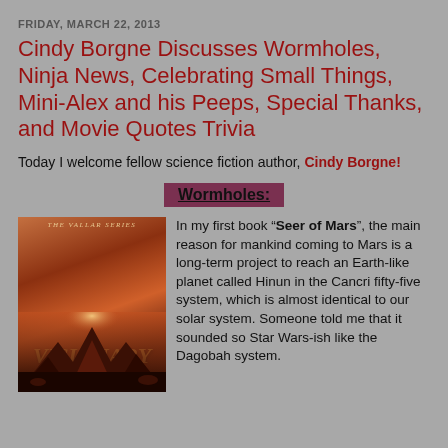FRIDAY, MARCH 22, 2013
Cindy Borgne Discusses Wormholes, Ninja News, Celebrating Small Things, Mini-Alex and his Peeps, Special Thanks, and Movie Quotes Trivia
Today I welcome fellow science fiction author, Cindy Borgne!
Wormholes:
[Figure (illustration): Book cover for 'Visionary of Peace' from The Vallar Series, showing a reddish-orange Mars landscape with mountains, dramatic sky with light source, and golden italic title text.]
In my first book “Seer of Mars”, the main reason for mankind coming to Mars is a long-term project to reach an Earth-like planet called Hinun in the Cancri fifty-five system, which is almost identical to our solar system. Someone told me that it sounded so Star Wars-ish like the Dagobah system.